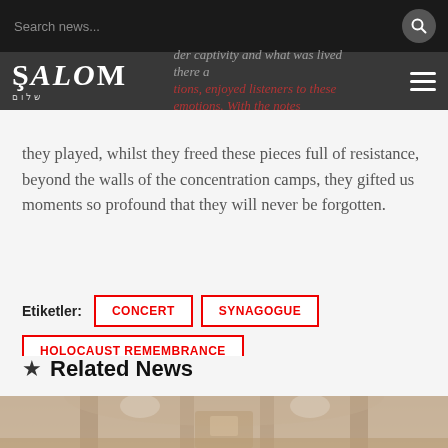Search news...
[Figure (logo): Şalom newspaper logo with Hebrew text]
der captivity and what was lived there and what was experienced. With the notes they played, whilst they freed these pieces full of resistance, beyond the walls of the concentration camps, they gifted us moments so profound that they will never be forgotten.
Etiketler: CONCERT | SYNAGOGUE | HOLOCAUST REMEMBRANCE
★ Related News
[Figure (photo): Interior of a synagogue, partially visible at the bottom of the page]